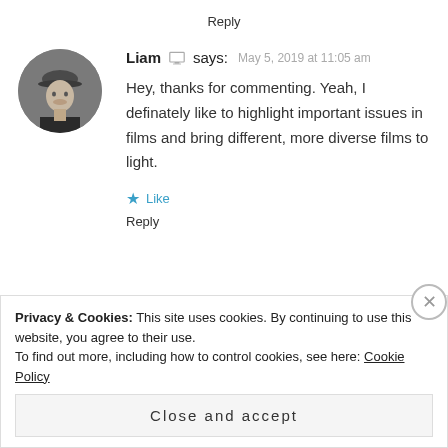Reply
[Figure (photo): Circular avatar photo of Liam, a person wearing a dark outfit and hat, grayscale image]
Liam says: May 5, 2019 at 11:05 am
Hey, thanks for commenting. Yeah, I definately like to highlight important issues in films and bring different, more diverse films to light.
★ Like
Reply
Privacy & Cookies: This site uses cookies. By continuing to use this website, you agree to their use. To find out more, including how to control cookies, see here: Cookie Policy
Close and accept